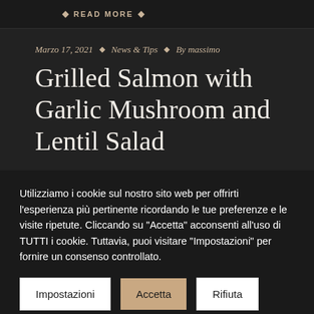◆ READ MORE ◆
Marzo 17, 2021 ◆ News & Tips ◆ By massimo
Grilled Salmon with Garlic Mushroom and Lentil Salad
Utilizziamo i cookie sul nostro sito web per offrirti l'esperienza più pertinente ricordando le tue preferenze e le visite ripetute. Cliccando su "Accetta" acconsenti all'uso di TUTTI i cookie. Tuttavia, puoi visitare "Impostazioni" per fornire un consenso controllato.
Impostazioni | Accetta | Rifiuta